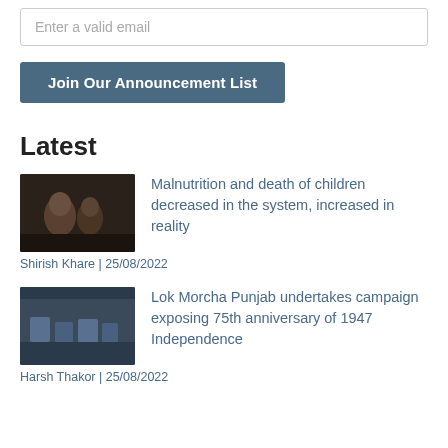Enter a valid email
Join Our Announcement List
Latest
[Figure (photo): Thumbnail photo of malnourished children, dark tones]
Malnutrition and death of children decreased in the system, increased in reality
Shirish Khare | 25/08/2022
[Figure (photo): Thumbnail photo of people in a meeting or gathering, blue-grey tones]
Lok Morcha Punjab undertakes campaign exposing 75th anniversary of 1947 Independence
Harsh Thakor | 25/08/2022